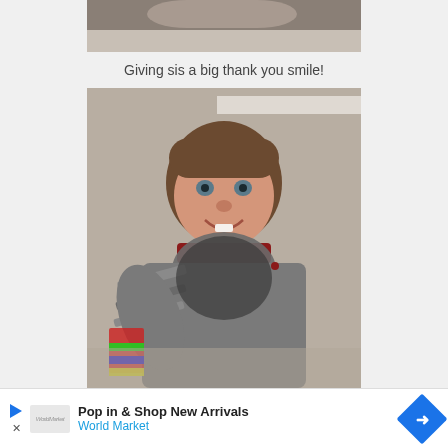[Figure (photo): Partial bottom of a photo showing someone lying on a soft surface, cropped at top of page]
Giving sis a big thank you smile!
[Figure (photo): A smiling baby with brown hair, wearing a grey striped onesie with red collar and a dark grey bib, sitting on a carpet floor with a colorful toy visible in the background]
Pop in & Shop New Arrivals
World Market